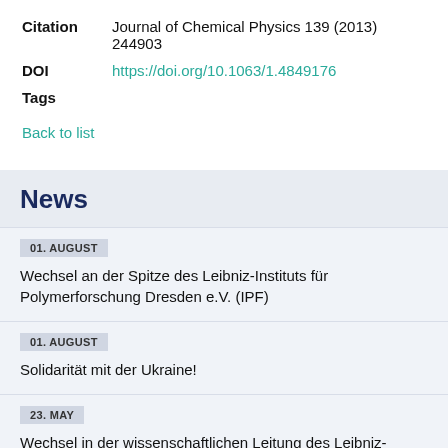Citation   Journal of Chemical Physics 139 (2013) 244903
DOI   https://doi.org/10.1063/1.4849176
Tags
Back to list
News
01. AUGUST
Wechsel an der Spitze des Leibniz-Instituts für Polymerforschung Dresden e.V. (IPF)
01. AUGUST
Solidarität mit der Ukraine!
23. MAY
Wechsel in der wissenschaftlichen Leitung des Leibniz-Instituts